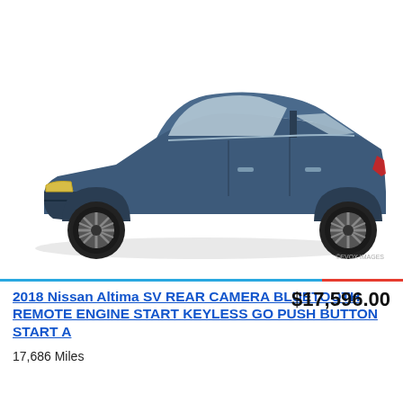[Figure (photo): Side profile photo of a dark blue/grey 2018 Nissan Altima sedan on white background, facing left. ©EVOX IMAGES watermark in bottom right.]
2018 Nissan Altima SV REAR CAMERA BLUETOOTH REMOTE ENGINE START KEYLESS GO PUSH BUTTON START A
17,686 Miles
$17,596.00